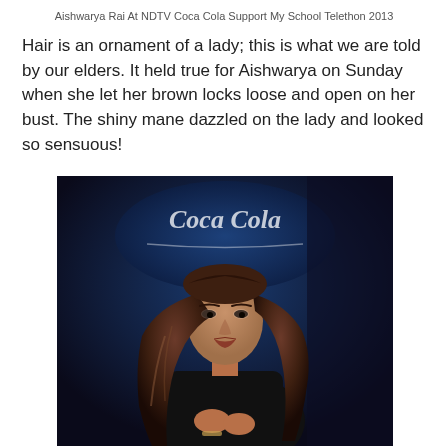Aishwarya Rai At NDTV Coca Cola Support My School Telethon 2013
Hair is an ornament of a lady; this is what we are told by our elders. It held true for Aishwarya on Sunday when she let her brown locks loose and open on her bust. The shiny mane dazzled on the lady and looked so sensuous!
[Figure (photo): Aishwarya Rai standing at NDTV Coca Cola Support My School Telethon 2013, wearing a black outfit with long brown hair loose, with Coca-Cola branding visible in the background on a dark blue curtain backdrop.]